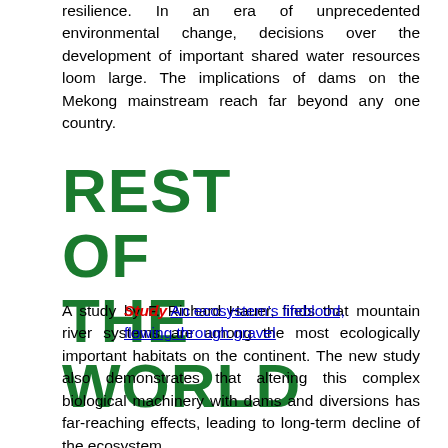resilience. In an era of unprecedented environmental change, decisions over the development of important shared water resources loom large. The implications of dams on the Mekong mainstream reach far beyond any one country.
REST OF THE WORLD
Study An ecosystem's lifeblood, flowing through gravel A study by F. Richard Hauer, finds that mountain river systems are among the most ecologically important habitats on the continent. The new study also demonstrates that altering this complex biological machinery with dams and diversions has far-reaching effects, leading to long-term decline of the ecosystem.